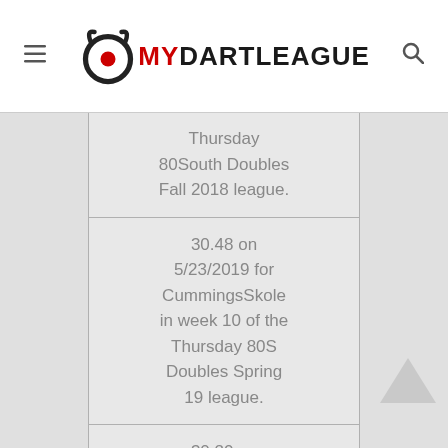MyDartLeague
Thursday 80South Doubles Fall 2018 league.
30.48 on 5/23/2019 for CummingsSkole in week 10 of the Thursday 80S Doubles Spring 19 league.
30.20 on 4/26/22 for VFW 1 in week 7 of the Tuesday 80S Spring 22 league.